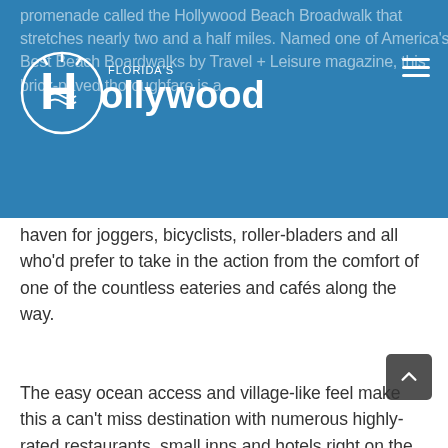promenade called the Hollywood Beach Broadwalk that stretches nearly two and a half miles. Named one of America's Best Beach Boardwalks by Travel + Leisure magazine, this brick-paved thoroughfare is a haven for joggers, bicyclists, roller-bladers and all who'd prefer to take in the action from the comfort of one of the countless eateries and cafés along the way.
[Figure (logo): Florida's Hollywood city logo — white text and icon on blue background]
haven for joggers, bicyclists, roller-bladers and all who'd prefer to take in the action from the comfort of one of the countless eateries and cafés along the way.
The easy ocean access and village-like feel make this a can't miss destination with numerous highly-rated restaurants, small inns and hotels right on the Broadwalk adding to its yesteryear charm. Family dining becomes stress-free, as Moms and Dads kick back to enjoy a seaside meal while their little ones entertain themselves in the sand just steps away. Two Broadwalk parks attract kids of all ages to play paddleball at the historic Garfield Street courts and race off in the